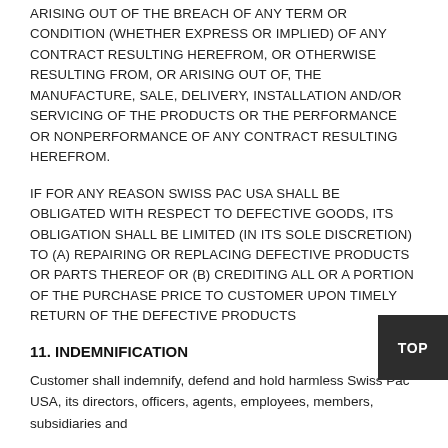ARISING OUT OF THE BREACH OF ANY TERM OR CONDITION (WHETHER EXPRESS OR IMPLIED) OF ANY CONTRACT RESULTING HEREFROM, OR OTHERWISE RESULTING FROM, OR ARISING OUT OF, THE MANUFACTURE, SALE, DELIVERY, INSTALLATION AND/OR SERVICING OF THE PRODUCTS OR THE PERFORMANCE OR NONPERFORMANCE OF ANY CONTRACT RESULTING HEREFROM.
IF FOR ANY REASON SWISS PAC USA SHALL BE OBLIGATED WITH RESPECT TO DEFECTIVE GOODS, ITS OBLIGATION SHALL BE LIMITED (IN ITS SOLE DISCRETION) TO (A) REPAIRING OR REPLACING DEFECTIVE PRODUCTS OR PARTS THEREOF OR (B) CREDITING ALL OR A PORTION OF THE PURCHASE PRICE TO CUSTOMER UPON TIMELY RETURN OF THE DEFECTIVE PRODUCTS
11. INDEMNIFICATION
Customer shall indemnify, defend and hold harmless Swiss Pac USA, its directors, officers, agents, employees, members, subsidiaries and